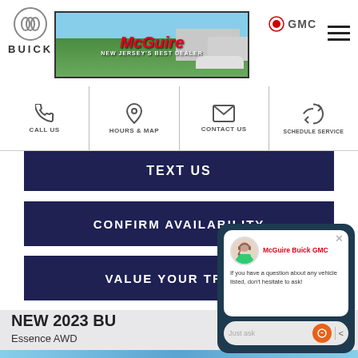[Figure (screenshot): McGuire Buick GMC dealership website header with Buick logo, McGuire banner showing dealership photo, GMC logo, and hamburger menu]
[Figure (screenshot): Navigation bar with CALL US, HOURS & MAP, CONTACT US, SCHEDULE SERVICE icons]
TEXT US
CONFIRM AVAILABILITY
VALUE YOUR TRADE
NEW 2023 BU
Essence AWD
[Figure (screenshot): Chat popup from McGuire Buick GMC with agent avatar, message: If you have a question about any vehicle listed, don't hesitate to ask!, and Just ask input field with send button]